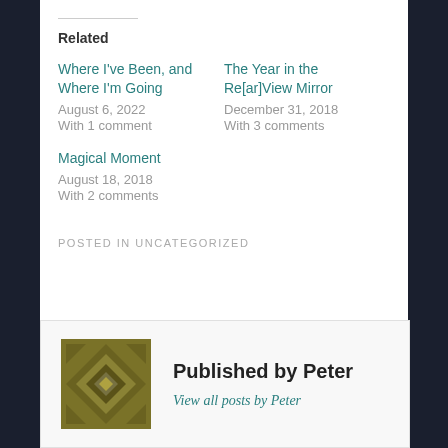Related
Where I've Been, and Where I'm Going
August 6, 2022
With 1 comment
The Year in the Re[ar]View Mirror
December 31, 2018
With 3 comments
Magical Moment
August 18, 2018
With 2 comments
POSTED IN UNCATEGORIZED
Published by Peter
View all posts by Peter